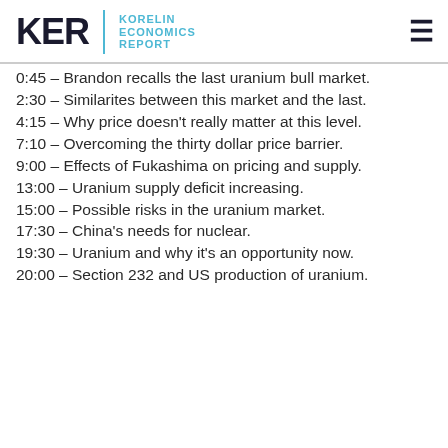KER | KORELIN ECONOMICS REPORT
0:45 – Brandon recalls the last uranium bull market.
2:30 – Similarites between this market and the last.
4:15 – Why price doesn't really matter at this level.
7:10 – Overcoming the thirty dollar price barrier.
9:00 – Effects of Fukashima on pricing and supply.
13:00 – Uranium supply deficit increasing.
15:00 – Possible risks in the uranium market.
17:30 – China's needs for nuclear.
19:30 – Uranium and why it's an opportunity now.
20:00 – Section 232 and US production of uranium.